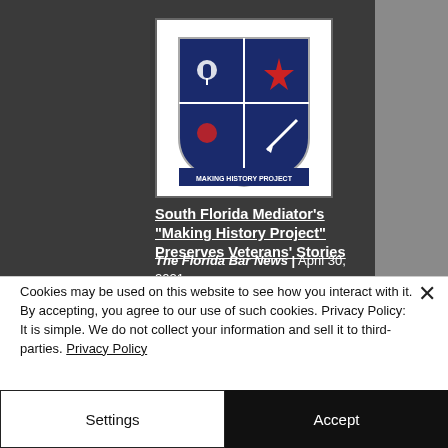[Figure (logo): Making History Project shield logo — dark blue and red quartered shield with icons, white border, text 'MAKING HISTORY PROJECT' at bottom]
South Florida Mediator's "Making History Project" Preserves Veterans' Stories
The Florida Bar News | April 30, 2021
Cookies may be used on this website to see how you interact with it. By accepting, you agree to our use of such cookies. Privacy Policy: It is simple. We do not collect your information and sell it to third-parties. Privacy Policy